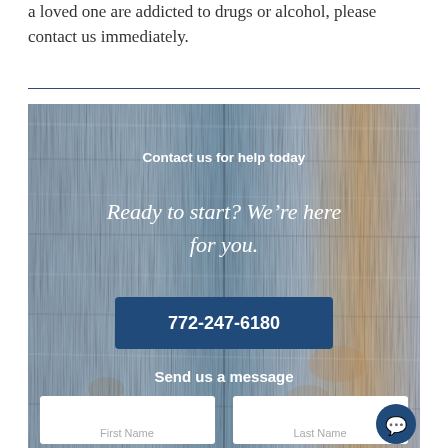a loved one are addicted to drugs or alcohol, please contact us immediately.
[Figure (infographic): Wood-textured background panel with contact information. Shows 'Contact us for help today' header, 'Ready to start? We're here for you.' tagline, a dark blue button with phone number '772-247-6180', 'Send us a message' section header, and two form fields labeled First Name and Last Name. A circular chat button appears bottom-right.]